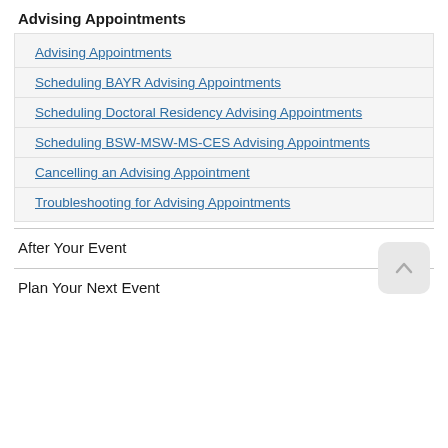Advising Appointments
Advising Appointments
Scheduling BAYR Advising Appointments
Scheduling Doctoral Residency Advising Appointments
Scheduling BSW-MSW-MS-CES Advising Appointments
Cancelling an Advising Appointment
Troubleshooting for Advising Appointments
After Your Event
Plan Your Next Event